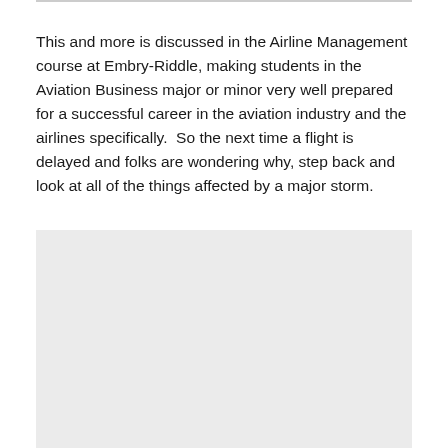This and more is discussed in the Airline Management course at Embry-Riddle, making students in the Aviation Business major or minor very well prepared for a successful career in the aviation industry and the airlines specifically.  So the next time a flight is delayed and folks are wondering why, step back and look at all of the things affected by a major storm.
[Figure (photo): A light gray placeholder image block below the text paragraph.]